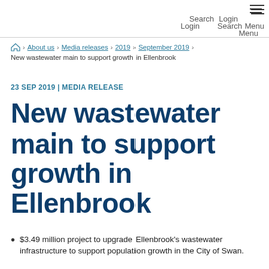Search  Login  Menu
Home > About us > Media releases > 2019 > September 2019 > New wastewater main to support growth in Ellenbrook
23 SEP 2019 | MEDIA RELEASE
New wastewater main to support growth in Ellenbrook
$3.49 million project to upgrade Ellenbrook's wastewater infrastructure to support population growth in the City of Swan.